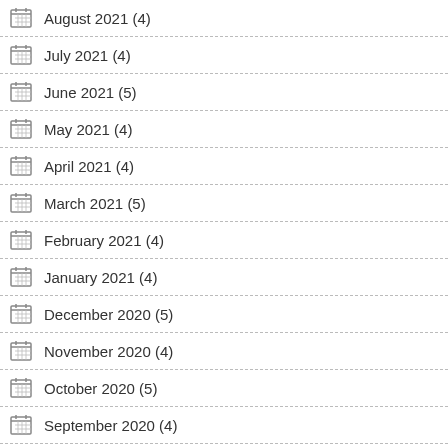August 2021 (4)
July 2021 (4)
June 2021 (5)
May 2021 (4)
April 2021 (4)
March 2021 (5)
February 2021 (4)
January 2021 (4)
December 2020 (5)
November 2020 (4)
October 2020 (5)
September 2020 (4)
August 2020 (4)
July 2020 (5)
April 2020 (3)